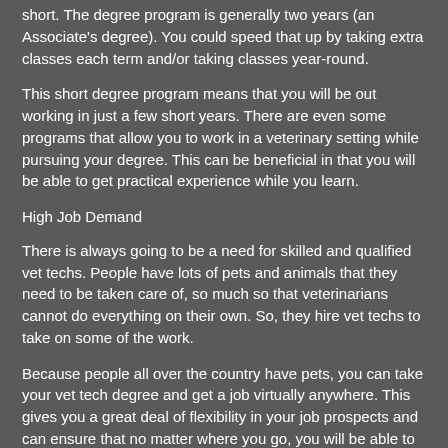short. The degree program is generally two years (an Associate's degree). You could speed that up by taking extra classes each term and/or taking classes year-round.
This short degree program means that you will be out working in just a few short years. There are even some programs that allow you to work in a veterinary setting while pursuing your degree. This can be beneficial in that you will be able to get practical experience while you learn.
High Job Demand
There is always going to be a need for skilled and qualified vet techs. People have lots of pets and animals that they need to be taken care of, so much so that veterinarians cannot do everything on their own. So, they hire vet techs to take on some of the work.
Because people all over the country have pets, you can take your vet tech degree and get a job virtually anywhere. This gives you a great deal of flexibility in your job prospects and can ensure that no matter where you go, you will be able to find a vet tech job.